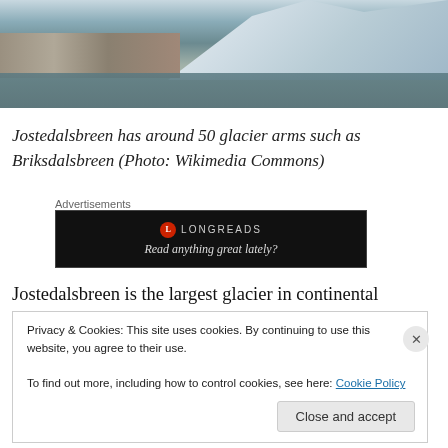[Figure (photo): Aerial or ground-level photo of a glacier with ice walls, rocky foreground, and gray-green water in between. Snow and ice formations visible.]
Jostedalsbreen has around 50 glacier arms such as Briksdalsbreen (Photo: Wikimedia Commons)
Advertisements
[Figure (infographic): Longreads advertisement banner with black background, red circular logo with L, text reading LONGREADS and tagline 'Read anything great lately?']
Jostedalsbreen is the largest glacier in continental Europe
Privacy & Cookies: This site uses cookies. By continuing to use this website, you agree to their use.
To find out more, including how to control cookies, see here: Cookie Policy